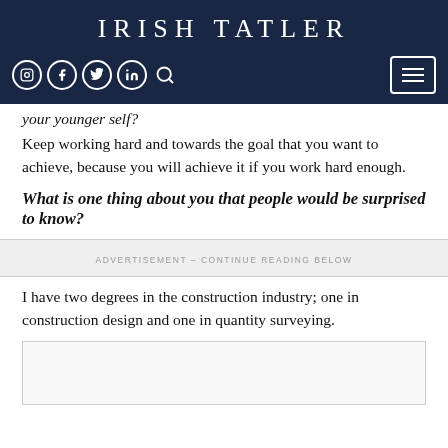IRISH TATLER
your younger self?
Keep working hard and towards the goal that you want to achieve, because you will achieve it if you work hard enough.
What is one thing about you that people would be surprised to know?
ADVERTISEMENT – CONTINUE READING BELOW
I have two degrees in the construction industry; one in construction design and one in quantity surveying.
[Figure (other): Advertisement image placeholder]